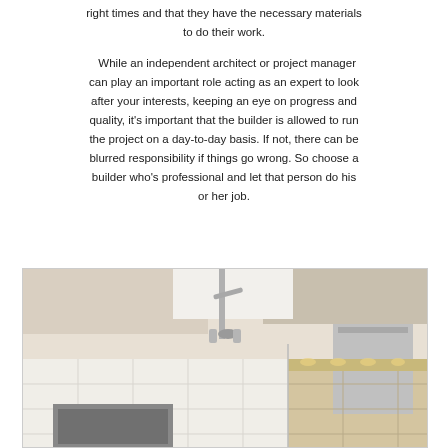right times and that they have the necessary materials to do their work.
While an independent architect or project manager can play an important role acting as an expert to look after your interests, keeping an eye on progress and quality, it's important that the builder is allowed to run the project on a day-to-day basis. If not, there can be blurred responsibility if things go wrong. So choose a builder who's professional and let that person do his or her job.
[Figure (photo): Top-down view of a modern kitchen interior showing white cabinetry, a faucet, range hood, and warm-lit under-cabinet lighting]